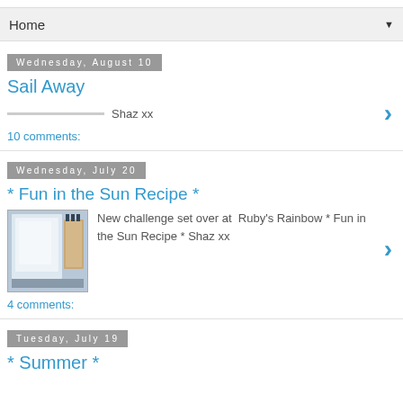Home
Wednesday, August 10
Sail Away
Shaz xx
10 comments:
Wednesday, July 20
* Fun in the Sun Recipe *
[Figure (photo): Thumbnail image of a crafting card with a nautical/beach theme]
New challenge set over at  Ruby's Rainbow * Fun in the Sun Recipe * Shaz xx
4 comments:
Tuesday, July 19
* Summer *